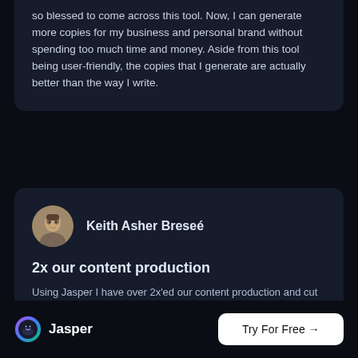so blessed to come across this tool. Now, I can generate more copies for my business and personal brand without spending too much time and money. Aside from this tool being user-friendly, the copies that I generate are actually better than the way I write.
Keith Asher Breseé
2x our content production
Using Jasper I have over 2x'ed our content production and cut costs by more than 50%. But have I sacrificed quality? Nope, a good number of the posts are already ranking! Long live Jasper!
Jasper   Try For Free →